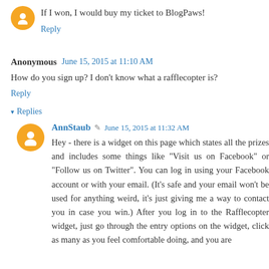If I won, I would buy my ticket to BlogPaws!
Reply
Anonymous  June 15, 2015 at 11:10 AM
How do you sign up? I don't know what a rafflecopter is?
Reply
▾ Replies
AnnStaub  June 15, 2015 at 11:32 AM
Hey - there is a widget on this page which states all the prizes and includes some things like "Visit us on Facebook" or "Follow us on Twitter". You can log in using your Facebook account or with your email. (It's safe and your email won't be used for anything weird, it's just giving me a way to contact you in case you win.) After you log in to the Rafflecopter widget, just go through the entry options on the widget, click as many as you feel comfortable doing, and you are